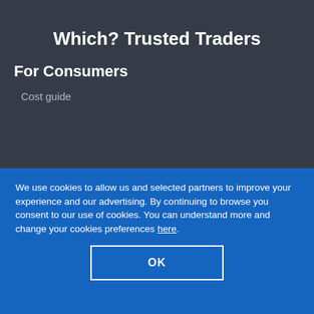Which? Trusted Traders
For Consumers
Cost guide
We use cookies to allow us and selected partners to improve your experience and our advertising. By continuing to browse you consent to our use of cookies. You can understand more and change your cookies preferences here.
OK